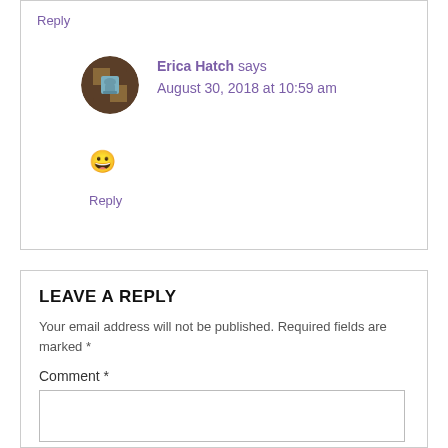Reply
Erica Hatch says
August 30, 2018 at 10:59 am
😀
Reply
LEAVE A REPLY
Your email address will not be published. Required fields are marked *
Comment *